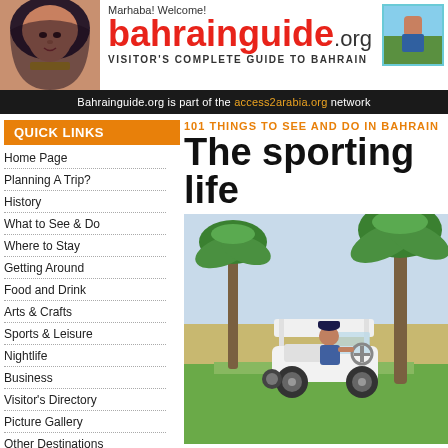Marhaba! Welcome! bahrainguide.org VISITOR'S COMPLETE GUIDE TO BAHRAIN
Bahrainguide.org is part of the access2arabia.org network
QUICK LINKS
Home Page
Planning A Trip?
History
What to See & Do
Where to Stay
Getting Around
Food and Drink
Arts & Crafts
Sports & Leisure
Nightlife
Business
Visitor's Directory
Picture Gallery
Other Destinations
Meet the Team
Contact Us
101 THINGS TO SEE AND DO IN BAHRAIN
The sporting life
[Figure (photo): A golf cart with a person riding it on a green golf course with palm trees in the background, Bahrain]